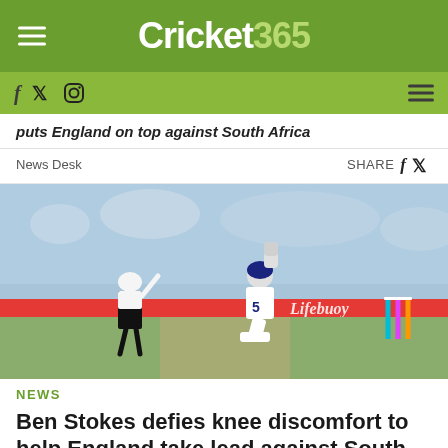Cricket 365
puts England on top against South Africa
News Desk    SHARE
[Figure (photo): Cricket photo showing a batsman kneeling on the pitch with fist raised after scoring, with an umpire standing nearby and a crowd in the background. Lifebuoy advertising board visible at boundary.]
NEWS
Ben Stokes defies knee discomfort to help England take lead against South